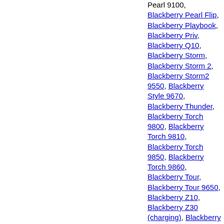Pearl 9100, Blackberry Pearl Flip, Blackberry Playbook, Blackberry Priv, Blackberry Q10, Blackberry Storm, Blackberry Storm 2, Blackberry Storm2 9550, Blackberry Style 9670, Blackberry Thunder, Blackberry Torch 9800, Blackberry Torch 9810, Blackberry Torch 9850, Blackberry Torch 9860, Blackberry Tour, Blackberry Tour 9650, Blackberry Z10, Blackberry Z30 (charging), Blackberry Z30 (Non Charging)